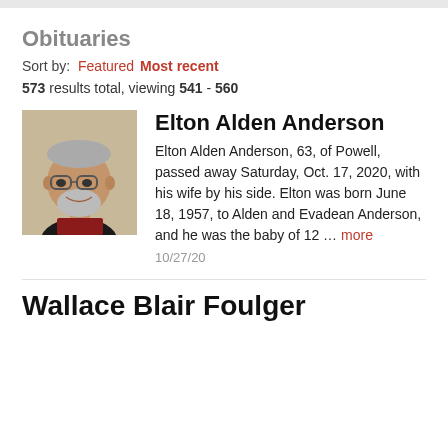Obituaries
Sort by:  Featured  Most recent
573 results total, viewing 541 - 560
[Figure (photo): Portrait photo of Elton Alden Anderson, a smiling older man with gray hair and glasses, wearing a dark shirt]
Elton Alden Anderson
Elton Alden Anderson, 63, of Powell, passed away Saturday, Oct. 17, 2020, with his wife by his side. Elton was born June 18, 1957, to Alden and Evadean Anderson, and he was the baby of 12 ... more
10/27/20
Wallace Blair Foulger